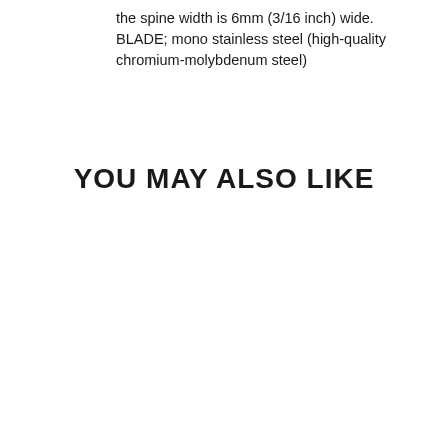the spine width is 6mm (3/16 inch) wide. BLADE; mono stainless steel (high-quality chromium-molybdenum steel)
YOU MAY ALSO LIKE